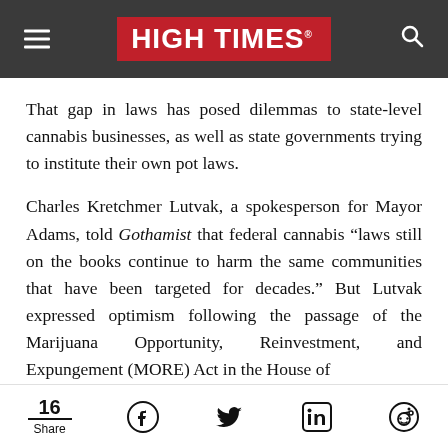HIGH TIMES
That gap in laws has posed dilemmas to state-level cannabis businesses, as well as state governments trying to institute their own pot laws.
Charles Kretchmer Lutvak, a spokesperson for Mayor Adams, told Gothamist that federal cannabis “laws still on the books continue to harm the same communities that have been targeted for decades.” But Lutvak expressed optimism following the passage of the Marijuana Opportunity, Reinvestment, and Expungement (MORE) Act in the House of
16 Share | Facebook | Twitter | LinkedIn | Reddit